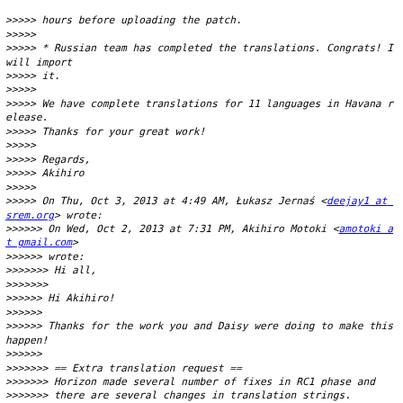>>>>> hours before uploading the patch.
>>>>>
>>>>> * Russian team has completed the translations. Congrats! I will import
>>>>> it.
>>>>>
>>>>> We have complete translations for 11 languages in Havana release.
>>>>> Thanks for your great work!
>>>>>
>>>>> Regards,
>>>>> Akihiro
>>>>>
>>>>> On Thu, Oct 3, 2013 at 4:49 AM, Łukasz Jernaś <deejay1 at srem.org> wrote:
>>>>>> On Wed, Oct 2, 2013 at 7:31 PM, Akihiro Motoki <amotoki at gmail.com>
>>>>>> wrote:
>>>>>>> Hi all,
>>>>>>>
>>>>>> Hi Akihiro!
>>>>>>
>>>>>> Thanks for the work you and Daisy were doing to make this happen!
>>>>>>
>>>>>>> == Extra translation request ==
>>>>>>> Horizon made several number of fixes in RC1 phase and
>>>>>>> there are several changes in translation strings.
>>>>>>> I just synced POT files with the latest Horizon